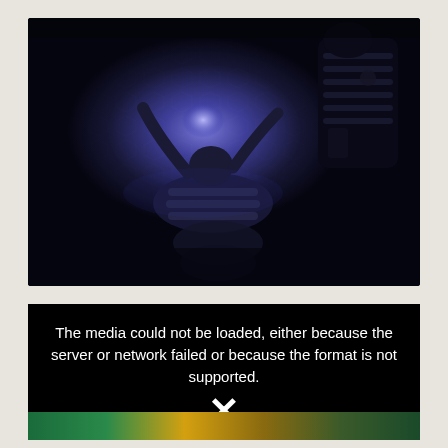[Figure (photo): Dark, moody photograph showing a person lying on a floor with a hexagonal tile pattern, illuminated by a bright blue-purple light from above. A dark figure or creature is visible to the upper right. The scene has a dramatic, cinematic quality with deep shadows and a blue-purple color palette.]
The media could not be loaded, either because the server or network failed or because the format is not supported.
[Figure (screenshot): Black media player error panel showing an X symbol and a partially visible video thumbnail at the bottom with colorful imagery.]